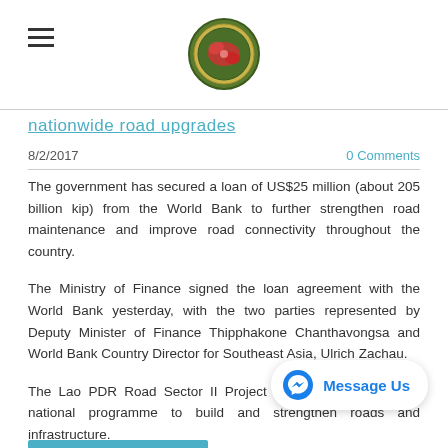nationwide road upgrades
8/2/2017
0 Comments
The government has secured a loan of US$25 million (about 205 billion kip) from the World Bank to further strengthen road maintenance and improve road connectivity throughout the country.
The Ministry of Finance signed the loan agreement with the World Bank yesterday, with the two parties represented by Deputy Minister of Finance Thipphakone Chanthavongsa and World Bank Country Director for Southeast Asia, Ulrich Zachau.
The Lao PDR Road Sector II Project is part of the country's national programme to build and strengthen roads and infrastructure.